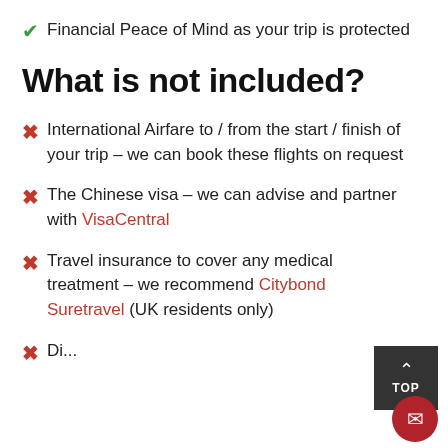✔ Financial Peace of Mind as your trip is protected
What is not included?
✗ International Airfare to / from the start / finish of your trip – we can book these flights on request
✗ The Chinese visa – we can advise and partner with VisaCentral
✗ Travel insurance to cover any medical treatment – we recommend Citybond Suretravel (UK residents only)
✗ Discretionary...